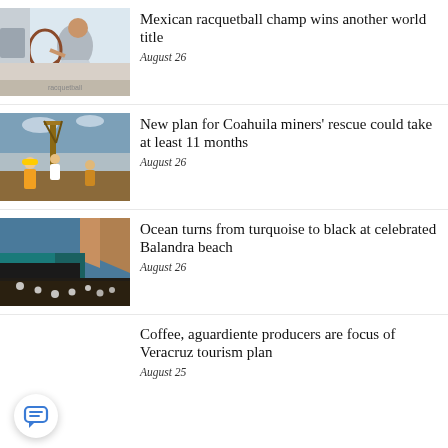[Figure (photo): Female racquetball player swinging racquet, action shot]
Mexican racquetball champ wins another world title
August 26
[Figure (photo): Rescue workers in helmets and vests at a mining site with drilling equipment]
New plan for Coahuila miners' rescue could take at least 11 months
August 26
[Figure (photo): Balandra beach with turquoise water turning black, rocky cliffs in background]
Ocean turns from turquoise to black at celebrated Balandra beach
August 26
Coffee, aguardiente producers are focus of Veracruz tourism plan
August 25